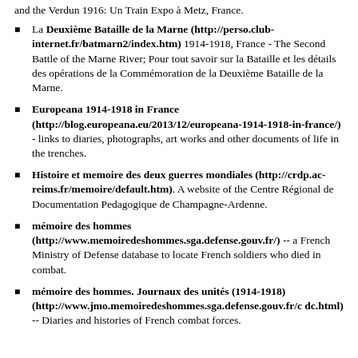and the Verdun 1916: Un Train Expo à Metz, France.
La Deuxième Bataille de la Marne (http://perso.club-internet.fr/batmarn2/index.htm) 1914-1918, France - The Second Battle of the Marne River; Pour tout savoir sur la Bataille et les détails des opérations de la Commémoration de la Deuxième Bataille de la Marne.
Europeana 1914-1918 in France (http://blog.europeana.eu/2013/12/europeana-1914-1918-in-france/) - links to diaries, photographs, art works and other documents of life in the trenches.
Histoire et memoire des deux guerres mondiales (http://crdp.ac-reims.fr/memoire/default.htm). A website of the Centre Régional de Documentation Pedagogique de Champagne-Ardenne.
mémoire des hommes (http://www.memoiredeshommes.sga.defense.gouv.fr/) -- a French Ministry of Defense database to locate French soldiers who died in combat.
mémoire des hommes. Journaux des unités (1914-1918) (http://www.jmo.memoiredeshommes.sga.defense.gouv.fr/c dc.html) -- Diaries and histories of French combat forces.